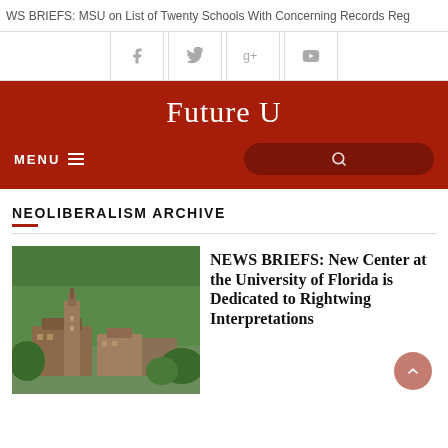WS BRIEFS: MSU on List of Twenty Schools With Concerning Records Reg
[Figure (screenshot): Social media icons: Facebook, Twitter, Google+, YouTube]
Future U
MENU
NEOLIBERALISM ARCHIVE
[Figure (photo): Aerial photo of University of Florida campus with red brick buildings and green trees]
NEWS BRIEFS: New Center at the University of Florida is Dedicated to Rightwing Interpretations